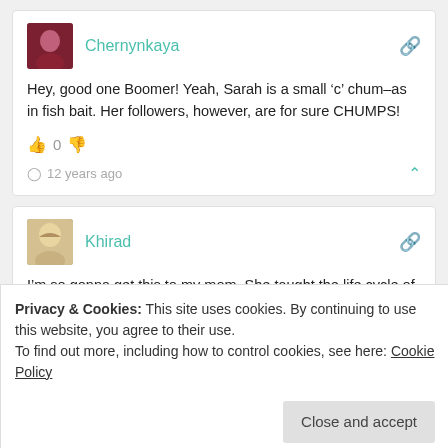Chernynkaya
Hey, good one Boomer! Yeah, Sarah is a small ‘c’ chum–as in fish bait. Her followers, however, are for sure CHUMPS!
0
12 years ago
Khirad
I’m so gonna get this to my mom. She taught the life cycle of a salmon to her kids every year. And, she can’t stand Palin
Privacy & Cookies: This site uses cookies. By continuing to use this website, you agree to their use.
To find out more, including how to control cookies, see here: Cookie Policy
Close and accept